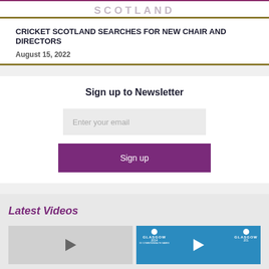SCOTLAND
CRICKET SCOTLAND SEARCHES FOR NEW CHAIR AND DIRECTORS
August 15, 2022
Sign up to Newsletter
Enter your email
Sign up
Latest Videos
[Figure (screenshot): Two video thumbnails side by side. Left thumbnail is light gray with a play button arrow. Right thumbnail shows a Glasgow 2014 Commonwealth Games scene with a person and play button overlay.]